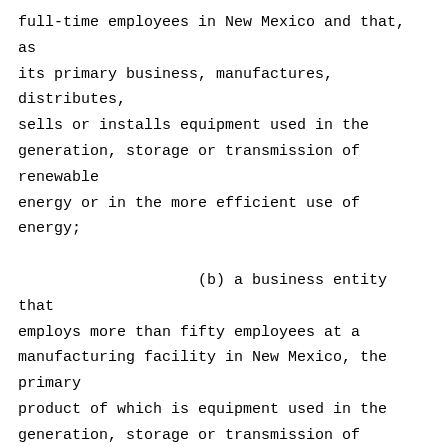full-time employees in New Mexico and that, as its primary business, manufactures, distributes, sells or installs equipment used in the generation, storage or transmission of renewable energy or in the more efficient use of energy;

                    (b) a business entity that employs more than fifty employees at a manufacturing facility in New Mexico, the primary product of which is equipment used in the generation, storage or transmission of renewable energy or in the more efficient use of energy;

                    (c) a renewable energy project located in New Mexico;

                    (d) bonds issued under the